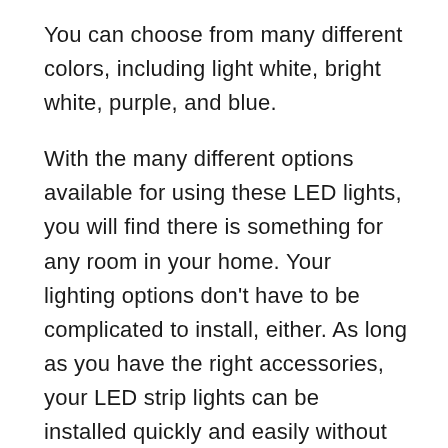You can choose from many different colors, including light white, bright white, purple, and blue.
With the many different options available for using these LED lights, you will find there is something for any room in your home. Your lighting options don't have to be complicated to install, either. As long as you have the right accessories, your LED strip lights can be installed quickly and easily without hiring a professional. You may want to have some basic tools on hand to install, such as a drill and screwdriver.
In summary, these tips are intended to give you a better understanding of how to use LED strip lights.